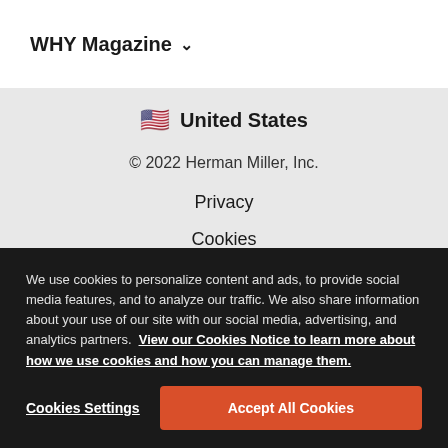WHY Magazine
United States
© 2022 Herman Miller, Inc.
Privacy
Cookies
Do Not Sell My Personal Information
Terms
We use cookies to personalize content and ads, to provide social media features, and to analyze our traffic. We also share information about your use of our site with our social media, advertising, and analytics partners. View our Cookies Notice to learn more about how we use cookies and how you can manage them.
Cookies Settings
Accept All Cookies